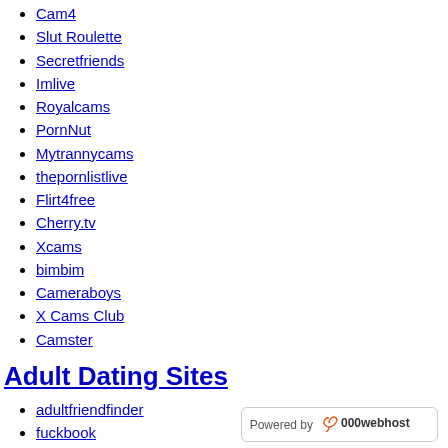Cam4
Slut Roulette
Secretfriends
Imlive
Royalcams
PornNut
Mytrannycams
thepornlistlive
Flirt4free
Cherry.tv
Xcams
bimbim
Cameraboys
X Cams Club
Camster
Adult Dating Sites
adultfriendfinder
fuckbook
Banglocals
fling
Find a Fuck Buddy
SwapFinder
local-bang
[Figure (logo): Powered by 000webhost badge]